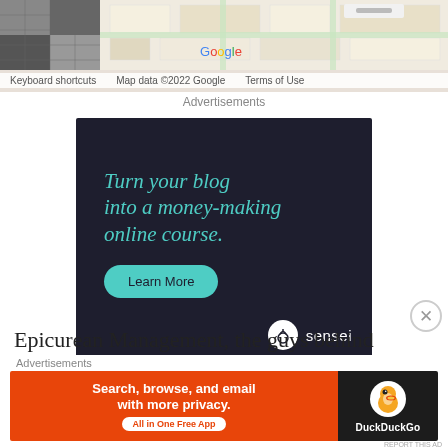[Figure (screenshot): Google Maps partial view with street map tiles and a thumbnail photo in top-left. Map footer shows: Keyboard shortcuts | Map data ©2022 Google | Terms of Use]
Advertisements
[Figure (screenshot): Sensei advertisement on dark background: 'Turn your blog into a money-making online course.' with a teal 'Learn More' button and Sensei logo bottom right]
REPORT THIS AD
Epicurean Management, the guys behind Dell'Anima,
Advertisements
[Figure (screenshot): DuckDuckGo advertisement: orange left panel 'Search, browse, and email with more privacy. All in One Free App' and dark right panel with DuckDuckGo logo and duck icon]